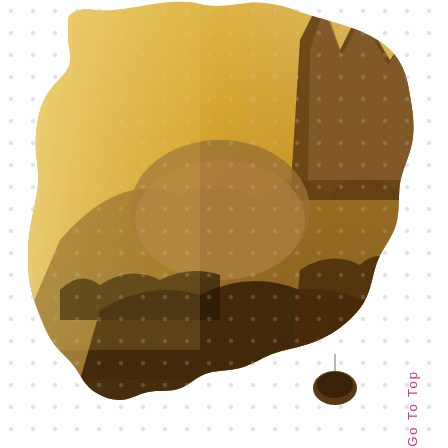[Figure (illustration): A silhouette map of Australia filled with a dramatic landscape photograph showing golden-lit mountains and rocky terrain. The background outside the map shape shows a white field with a regular grid of small grey dots. Tasmania is shown below the mainland connected by a thin vertical line. A 'Go To Top' label in pink/magenta runs vertically along the right side near Tasmania.]
Go To Top